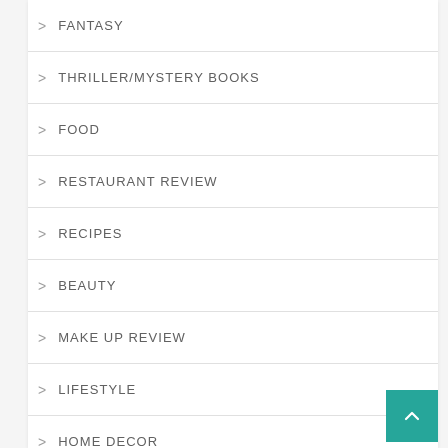FANTASY
THRILLER/MYSTERY BOOKS
FOOD
RESTAURANT REVIEW
RECIPES
BEAUTY
MAKE UP REVIEW
LIFESTYLE
HOME DECOR